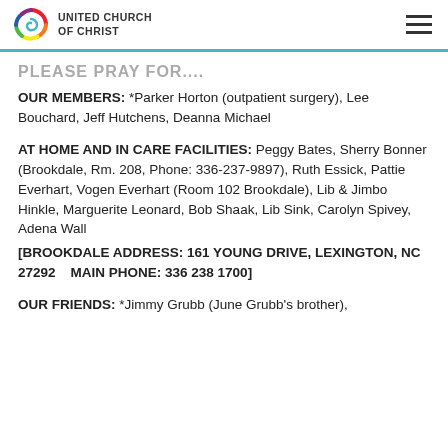United Church of Christ
PLEASE PRAY FOR...
OUR MEMBERS: *Parker Horton (outpatient surgery), Lee Bouchard, Jeff Hutchens, Deanna Michael
AT HOME AND IN CARE FACILITIES: Peggy Bates, Sherry Bonner (Brookdale, Rm. 208, Phone: 336-237-9897), Ruth Essick, Pattie Everhart, Vogen Everhart (Room 102 Brookdale), Lib & Jimbo Hinkle, Marguerite Leonard, Bob Shaak, Lib Sink, Carolyn Spivey, Adena Wall
[BROOKDALE ADDRESS: 161 YOUNG DRIVE, LEXINGTON, NC 27292    MAIN PHONE: 336 238 1700]
OUR FRIENDS: *Jimmy Grubb (June Grubb's brother),